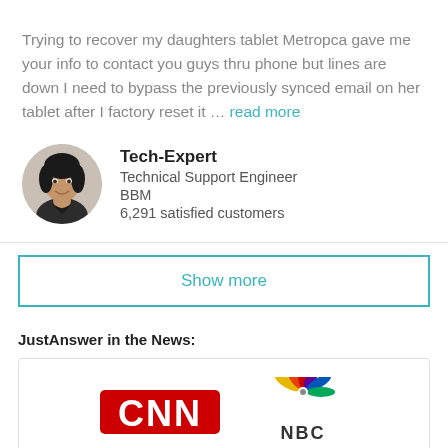Trying to recover my daughters tablet Metropca gave me your info to contact you guys thru phone but lines are down I need to bypass the previously synced email on her tablet after I factory reset it … read more
[Figure (photo): Circular profile photo of a smiling woman with dark hair, the Tech-Expert]
Tech-Expert
Technical Support Engineer
BBM
6,291 satisfied customers
Show more
JustAnswer in the News:
[Figure (logo): CNN logo in red and NBC peacock logo side by side in a white box]